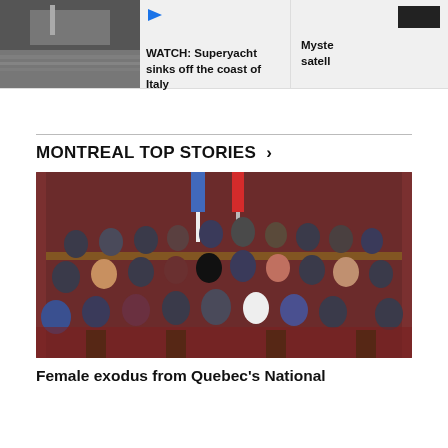[Figure (photo): Top left photo placeholder - partial image of a boat/superyacht]
WATCH: Superyacht sinks off the coast of Italy
Myste... satell...
MONTREAL TOP STORIES >
[Figure (photo): Group photo of Quebec National Assembly members in a formal red-carpeted chamber with Canadian and Quebec flags]
Female exodus from Quebec's National